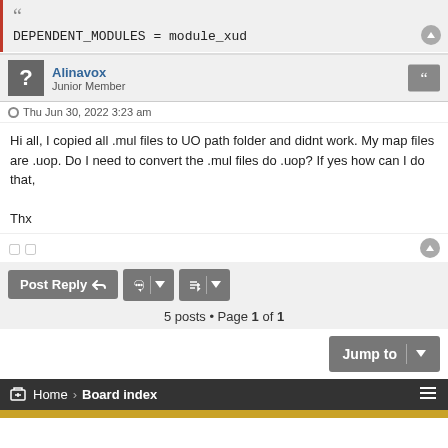DEPENDENT_MODULES = module_xud
Alinavox
Junior Member
Thu Jun 30, 2022 3:23 am
Hi all, I copied all .mul files to UO path folder and didnt work. My map files are .uop. Do I need to convert the .mul files do .uop? If yes how can I do that,

Thx
5 posts • Page 1 of 1
Jump to
Home › Board index